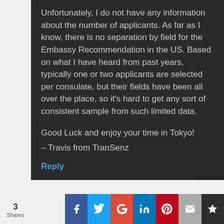Unfortunately, I do not have any information about the number of applicants. As far as I know, there is no separation by field for the Embassy Recommendation in the US. Based on what I have heard from past years, typically one or two applicants are selected per consulate, but their fields have been all over the place, so it's hard to get any sort of consistent sample from such limited data.
Good Luck and enjoy your time in Tokyo!
– Travis from TranSenz
Reply